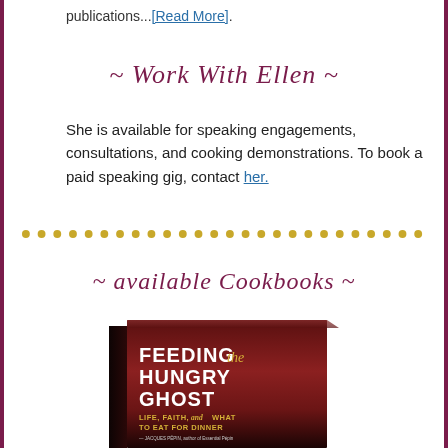publications...[Read More].
~ Work With Ellen ~
She is available for speaking engagements, consultations, and cooking demonstrations. To book a paid speaking gig, contact her.
[Figure (other): Decorative dotted divider line made of dark yellow/olive dots]
~ available Cookbooks ~
[Figure (photo): Book cover of 'Feeding the Hungry Ghost: Life, Faith, and What to Eat for Dinner' — dark reddish-brown cover with bold white and gold lettering, with a blurb from Jacques Pepin at the bottom]